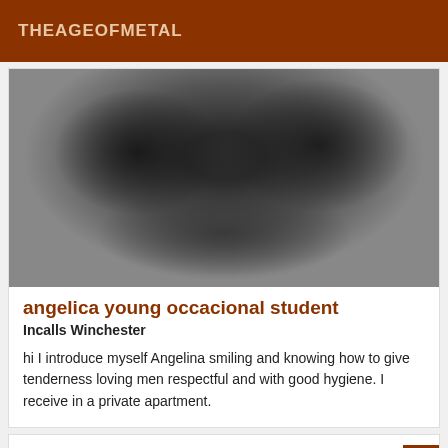THEAGEOFMETAL
[Figure (photo): Black and white close-up photo, grainy monochrome image]
angelica young occacional student
Incalls Winchester
hi I introduce myself Angelina smiling and knowing how to give tenderness loving men respectful and with good hygiene. I receive in a private apartment.